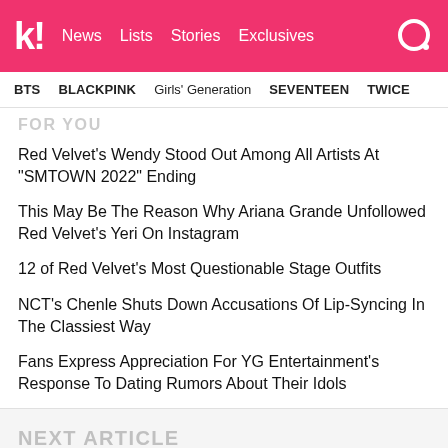koreaboo! News Lists Stories Exclusives
BTS BLACKPINK Girls' Generation SEVENTEEN TWICE
FOR YOU
Red Velvet's Wendy Stood Out Among All Artists At "SMTOWN 2022" Ending
This May Be The Reason Why Ariana Grande Unfollowed Red Velvet's Yeri On Instagram
12 of Red Velvet's Most Questionable Stage Outfits
NCT's Chenle Shuts Down Accusations Of Lip-Syncing In The Classiest Way
Fans Express Appreciation For YG Entertainment's Response To Dating Rumors About Their Idols
NEXT ARTICLE